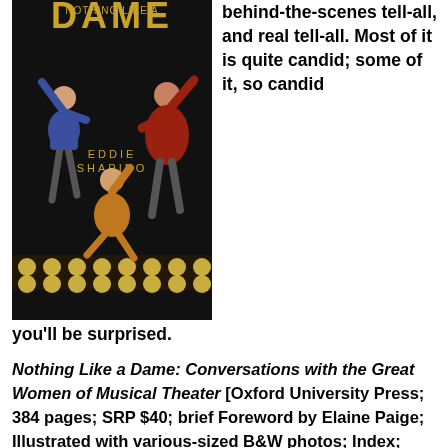[Figure (illustration): Book cover of 'Nothing Like a Dame' by Eddie Shapiro, showing three women performers dancing/posing against a black background with film strip lights. One in blue, one in orange, one in red dress.]
behind-the-scenes tell-all, and real tell-all. Most of it is quite candid; some of it, so candid you'll be surprised.
Nothing Like a Dame: Conversations with the Great Women of Musical Theater [Oxford University Press; 384 pages; SRP $40; brief Foreword by Elaine Paige; Illustrated with various-sized B&W photos; Index; sales